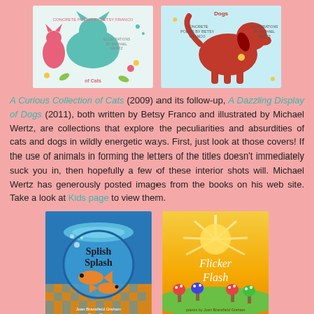[Figure (photo): Book cover of 'A Curious Collection of Cats' with colorful animals forming letters, concrete poems by Betsy Franco, illustrations by Michael Wertz]
[Figure (photo): Book cover of 'A Dazzling Display of Dogs' with colorful dog forming letters, concrete poems by Betsy Franco, illustrations by Michael Wertz]
A Curious Collection of Cats (2009) and its follow-up, A Dazzling Display of Dogs (2011), both written by Betsy Franco and illustrated by Michael Wertz, are collections that explore the peculiarities and absurdities of cats and dogs in wildly energetic ways. First, just look at those covers! If the use of animals in forming the letters of the titles doesn't immediately suck you in, then hopefully a few of these interior shots will. Michael Wertz has generously posted images from the books on his web site. Take a look at Kids page to view them.
[Figure (photo): Book cover of 'Splish Splash' featuring a fish bowl with orange fish on a blue/teal background with checkered border]
[Figure (photo): Book cover of 'Flicker Flash' with glowing sun rays, small colorful mushroom-like trees on a yellow/orange gradient background]